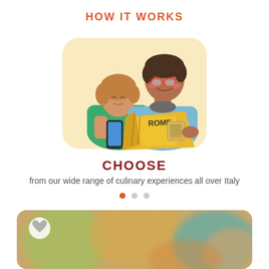HOW IT WORKS
[Figure (illustration): Illustrated couple looking at a phone and a Rome travel guidebook together. Woman with short brown hair wearing green top holds a smartphone; man with glasses wearing blue shirt holds an open yellow guidebook labeled 'ROME'.]
CHOOSE
from our wide range of culinary experiences all over Italy
[Figure (photo): Blurred photo of people at a dining/culinary experience, with a heart/favorite icon button in the top-left corner.]